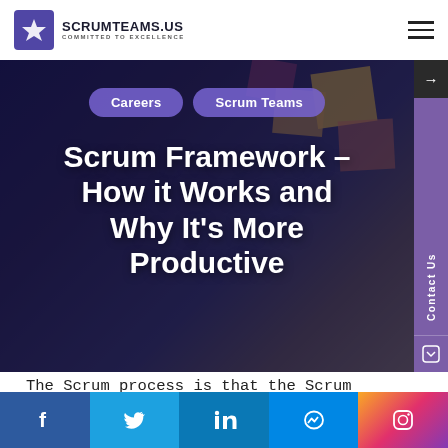SCRUMTEAMS.US COMMITTED TO EXCELLENCE
[Figure (screenshot): Hero banner with dark overlay showing sticky notes in background, navigation pills for Careers and Scrum Teams, and large white bold title text]
Scrum Framework – How it Works and Why It's More Productive
The Scrum process is that the Scrum framework relies on a system of
[Figure (infographic): Social media share buttons bar: Facebook, Twitter, LinkedIn, Messenger, Instagram]